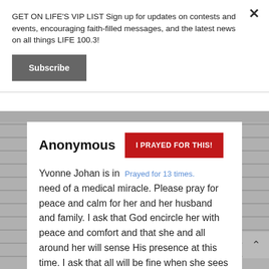GET ON LIFE'S VIP LIST Sign up for updates on contests and events, encouraging faith-filled messages, and the latest news on all things LIFE 100.3!
Subscribe
Anonymous
I PRAYED FOR THIS!
Prayed for 13 times.
Yvonne Johan is in need of a medical miracle. Please pray for peace and calm for her and her husband and family. I ask that God encircle her with peace and comfort and that she and all around her will sense His presence at this time. I ask that all will be fine when she sees the doctor.